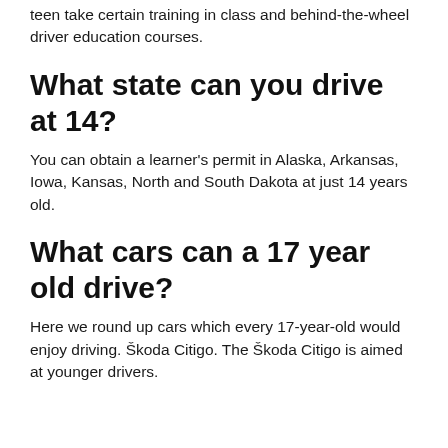teen take certain training in class and behind-the-wheel driver education courses.
What state can you drive at 14?
You can obtain a learner's permit in Alaska, Arkansas, Iowa, Kansas, North and South Dakota at just 14 years old.
What cars can a 17 year old drive?
Here we round up cars which every 17-year-old would enjoy driving. Škoda Citigo. The Škoda Citigo is aimed at younger drivers.